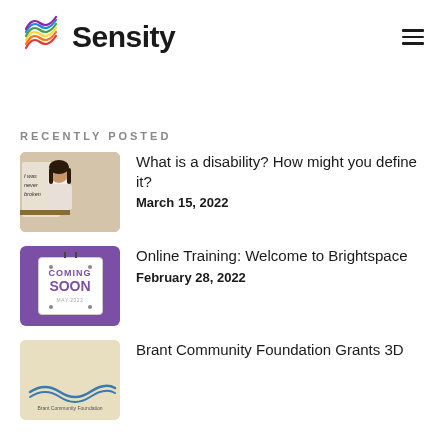Sensity
RECENTLY POSTED
[Figure (photo): Woman standing at a table with a sign behind her that reads 'I was never broken']
What is a disability? How might you define it?
March 15, 2022
[Figure (illustration): Purple square tile with a 'Coming Soon May 2022' sign hanging on it]
Online Training: Welcome to Brightspace
February 28, 2022
[Figure (logo): Brant Community Foundation logo on beige background]
Brant Community Foundation Grants 3D